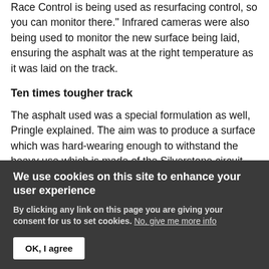Race Control is being used as resurfacing control, so you can monitor there." Infrared cameras were also being used to monitor the new surface being laid, ensuring the asphalt was at the right temperature as it was laid on the track.
Ten times tougher track
The asphalt used was a special formulation as well, Pringle explained. The aim was to produce a surface which was hard-wearing enough to withstand the heavy use which is made of the Silverstone circuit, and not start to ripple or produce bumps in braking zones. "It's a special mix that Dreme have created for us," Pringle
We use cookies on this site to enhance your user experience
By clicking any link on this page you are giving your consent for us to set cookies. No, give me more info
OK, I agree